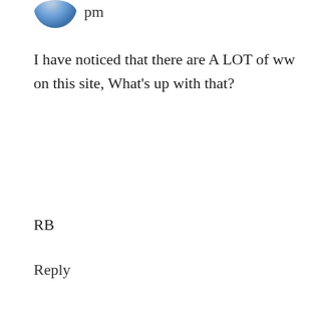[Figure (photo): Partially cropped circular avatar image at top, showing blue/teal tones]
pm
I have noticed that there are A LOT of ww on this site, What's up with that?
RB
Reply
[Figure (photo): Circular avatar showing a werewolf/creature howling at the moon against dark blue background]
firefang says March 18, 2014 at 7:07 pm
Eh what do you ex spect